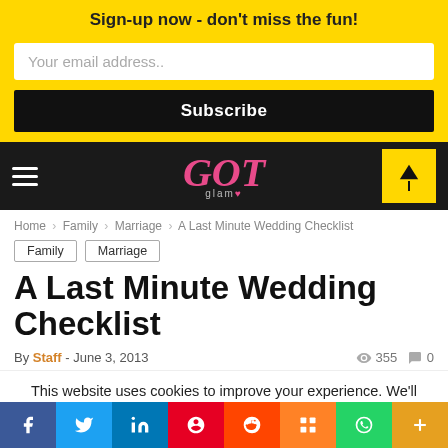Sign-up now - don't miss the fun!
Your email address..
Subscribe
[Figure (logo): GOT Glam logo in pink italic text on dark navbar background with hamburger menu and yellow notification icon]
Home > Family > Marriage > A Last Minute Wedding Checklist
Family  Marriage
A Last Minute Wedding Checklist
By Staff - June 3, 2013  355  0
This website uses cookies to improve your experience. We'll assume you're ok with this, but you can opt-out if you wish.
[Figure (infographic): Social share bar with Facebook, Twitter, LinkedIn, Pinterest, Reddit, Mix, WhatsApp, More buttons]